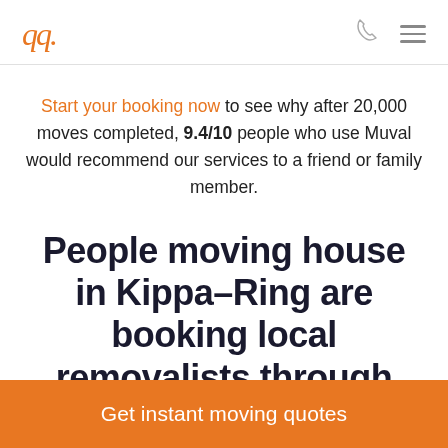qq. (Muval logo) | phone icon | menu icon
Start your booking now to see why after 20,000 moves completed, 9.4/10 people who use Muval would recommend our services to a friend or family member.
People moving house in Kippa–Ring are booking local removalists through Muval
Get instant moving quotes